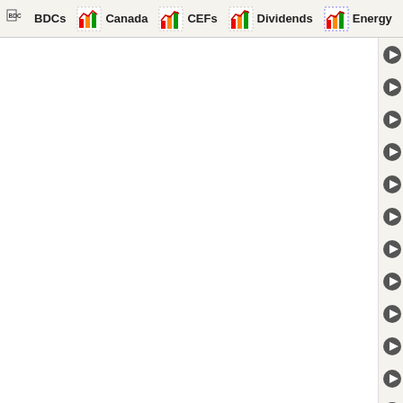BDCs | Canada | CEFs | Dividends | Energy | E...
10 Top Divide...
10 Top Divide...
10 Stocks Cr...
10 Stocks Cr...
10 Stocks Cr...
10 ETFs Cros...
The 10 Bigge...
The 10 Best B...
Best Vanguar...
Worst Vangua...
Best iShares ...
Worst iShares...
The 10 Worst...
10 ETFs With...
10 ETFs With...
Top 10 Analys...
Top 10 Analys...
Top 10 Analys...
Top 10 Analys...
Top 10 Analys...
Top 10 Analys...
Top 10 Analyy...
Best Dividen...
Best High Div...
Top Dividend...
Best High Yic...